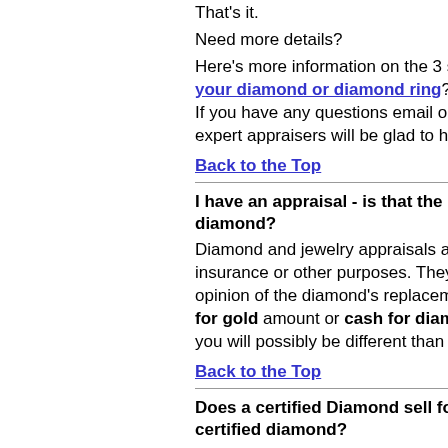That's it.
Need more details?
Here's more information on the 3 simple steps to sell your diamond or diamond ring? If you have any questions email or give us a call, our expert appraisers will be glad to help you.
Back to the Top
I have an appraisal - is that the price I can sell my diamond?
Diamond and jewelry appraisals are usually done for insurance or other purposes. They represent an opinion of the diamond's replacement cost, not the cash for gold amount or cash for diamond amount, so you will possibly be different than the appraisal.
Back to the Top
Does a certified Diamond sell for more? How to sell a certified diamond?
Certification can be helpful in the diamond selling process when you sell a diamond, but certification does not change the value of a diamond.
Back to the Top
How long does it take to receive my pa...
Our knowledgeable diamond buyers are...